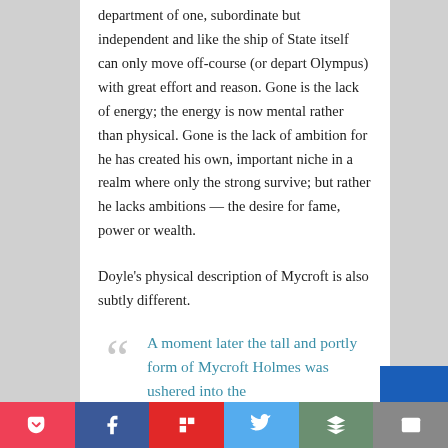department of one, subordinate but independent and like the ship of State itself can only move off-course (or depart Olympus) with great effort and reason. Gone is the lack of energy; the energy is now mental rather than physical. Gone is the lack of ambition for he has created his own, important niche in a realm where only the strong survive; but rather he lacks ambitions — the desire for fame, power or wealth.
Doyle's physical description of Mycroft is also subtly different.
A moment later the tall and portly form of Mycroft Holmes was ushered into the